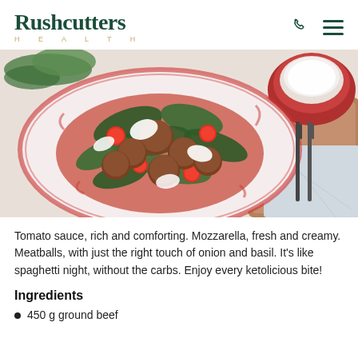Rushcutters HEALTH
[Figure (photo): A decorative red-and-white plate filled with meatballs in tomato sauce, wilted spinach, cherry tomatoes, and fresh mozzarella. A red bowl and fork are visible in the background on a wooden surface with a cloth napkin.]
Tomato sauce, rich and comforting. Mozzarella, fresh and creamy. Meatballs, with just the right touch of onion and basil. It's like spaghetti night, without the carbs. Enjoy every ketolicious bite!
Ingredients
450 g ground beef